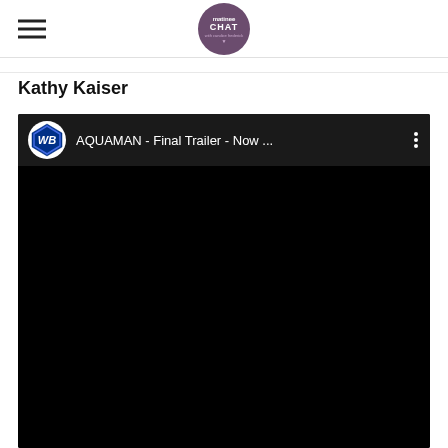matinee CHAT
Kathy Kaiser
[Figure (screenshot): Embedded YouTube video player showing Warner Bros. video titled 'AQUAMAN - Final Trailer - Now ...' with WB shield logo and black video area]